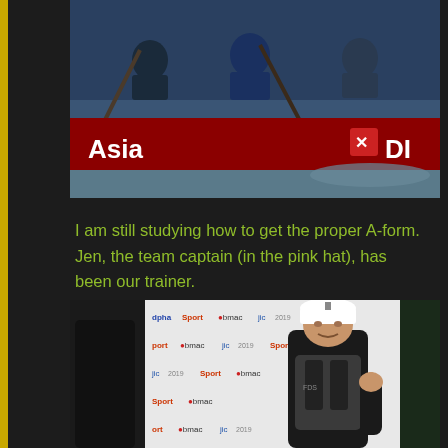[Figure (photo): Photo of people paddling in a red dragon boat with 'Asia' text and DI logo visible on the boat side, water splashing.]
I am still studying how to get the proper A-form. Jen, the team captain (in the pink hat), has been our trainer.
[Figure (photo): Photo of a young Asian man wearing a white cap and dark life vest with FDS logo, smiling and giving a thumbs up, with sport event sponsor banners in the background.]